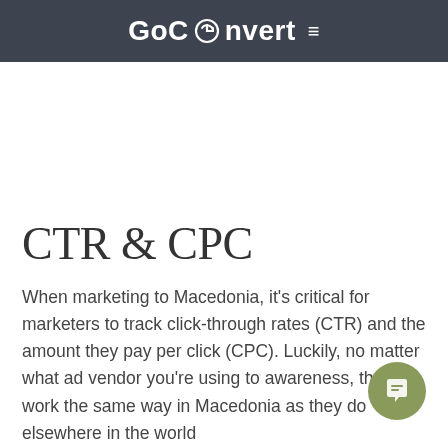GoConvert ≡
CTR & CPC
When marketing to Macedonia, it's critical for marketers to track click-through rates (CTR) and the amount they pay per click (CPC). Luckily, no matter what ad vendor you're using to awareness, these work the same way in Macedonia as they do elsewhere in the world